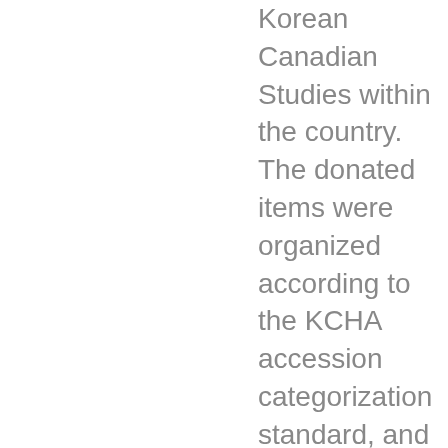Korean Canadian Studies within the country. The donated items were organized according to the KCHA accession categorization standard, and they include originals and photocopies of letters, newsletters, books, photographs